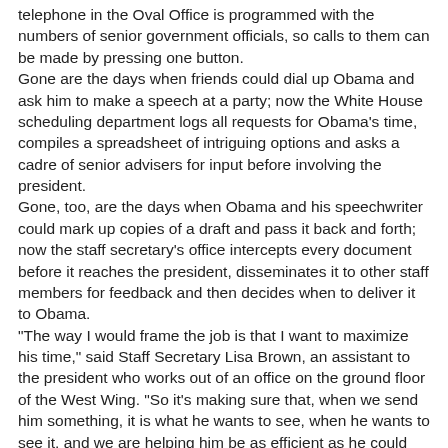telephone in the Oval Office is programmed with the numbers of senior government officials, so calls to them can be made by pressing one button. Gone are the days when friends could dial up Obama and ask him to make a speech at a party; now the White House scheduling department logs all requests for Obama's time, compiles a spreadsheet of intriguing options and asks a cadre of senior advisers for input before involving the president. Gone, too, are the days when Obama and his speechwriter could mark up copies of a draft and pass it back and forth; now the staff secretary's office intercepts every document before it reaches the president, disseminates it to other staff members for feedback and then decides when to deliver it to Obama. "The way I would frame the job is that I want to maximize his time," said Staff Secretary Lisa Brown, an assistant to the president who works out of an office on the ground floor of the West Wing. "So it's making sure that, when we send him something, it is what he wants to see, when he wants to see it, and we are helping him be as efficient as he could be." In the name of efficiency, Obama's senior staff arrives at the White House before 7 a.m. to begin their day. As well...